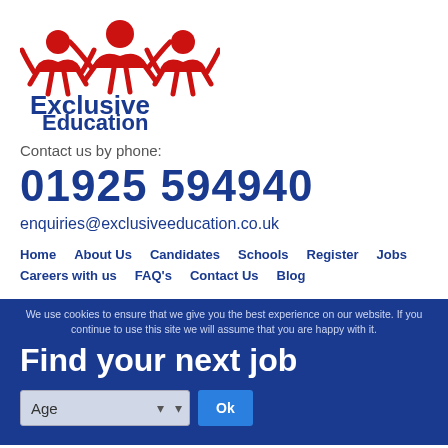[Figure (logo): Exclusive Education logo with three red stylized human figures and blue text 'Exclusive Education']
Contact us by phone:
01925 594940
enquiries@exclusiveeducation.co.uk
Home   About Us   Candidates   Schools   Register   Jobs
Careers with us   FAQ's   Contact Us   Blog
We use cookies to ensure that we give you the best experience on our website. If you continue to use this site we will assume that you are happy with it.
Find your next job